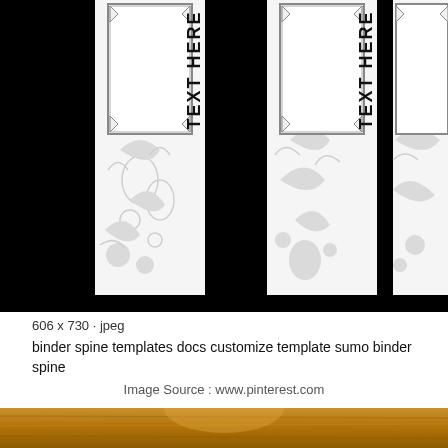[Figure (illustration): Three binder spine templates on a black background. Each spine is white with gray floral/botanical patterns and has a label area at the top with 'TEXT HERE' written vertically in bold black uppercase letters.]
606 x 730 · jpeg
binder spine templates docs customize template sumo binder spine
Image Source : www.pinterest.com
[Figure (photo): Bottom portion of a brown/amber colored textured surface, partially visible.]